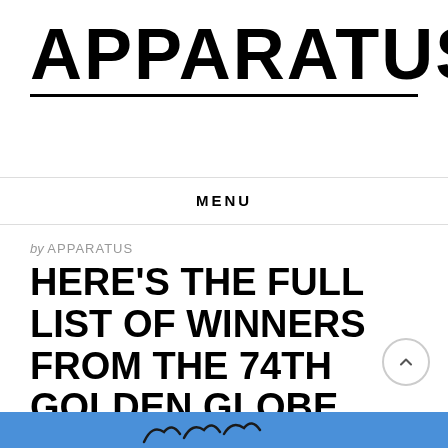APPARATUS
MENU
by APPARATUS
HERE'S THE FULL LIST OF WINNERS FROM THE 74TH GOLDEN GLOBE AWARDS
[Figure (photo): Blue sky background with bird silhouettes at the bottom, partial image cut off at page bottom]